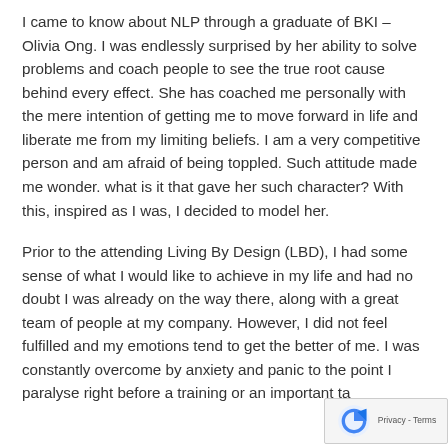I came to know about NLP through a graduate of BKI – Olivia Ong. I was endlessly surprised by her ability to solve problems and coach people to see the true root cause behind every effect. She has coached me personally with the mere intention of getting me to move forward in life and liberate me from my limiting beliefs. I am a very competitive person and am afraid of being toppled. Such attitude made me wonder. what is it that gave her such character? With this, inspired as I was, I decided to model her.
Prior to the attending Living By Design (LBD), I had some sense of what I would like to achieve in my life and had no doubt I was already on the way there, along with a great team of people at my company. However, I did not feel fulfilled and my emotions tend to get the better of me. I was constantly overcome by anxiety and panic to the point I paralyse right before a training or an important ta...